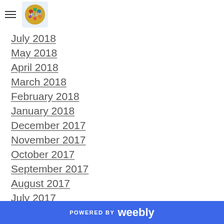HUP logo with hamburger menu
July 2018
May 2018
April 2018
March 2018
February 2018
January 2018
December 2017
November 2017
October 2017
September 2017
August 2017
July 2017
June 2017
POWERED BY weebly